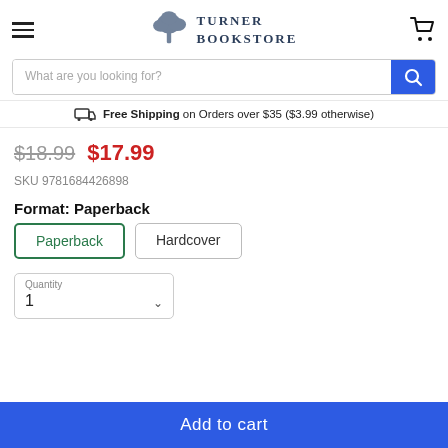[Figure (logo): Turner Bookstore logo with tree illustration and text TURNER BOOKSTORE]
What are you looking for?
Free Shipping on Orders over $35 ($3.99 otherwise)
$18.99 $17.99
SKU 9781684426898
Format: Paperback
Paperback
Hardcover
Quantity
1
Add to cart